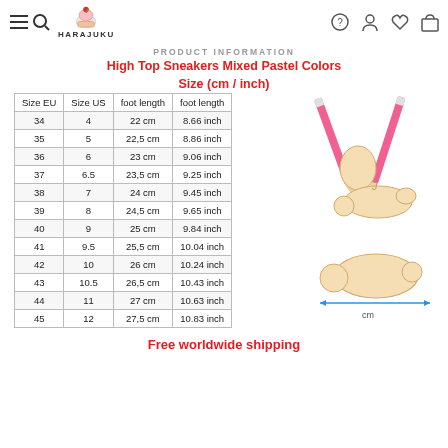HARAJUKU
PRODUCT INFORMATION
High Top Sneakers Mixed Pastel Colors
Size (cm / inch)
| Size EU | Size US | foot length | foot length |
| --- | --- | --- | --- |
| 34 | 4 | 22 cm | 8.66 inch |
| 35 | 5 | 22,5 cm | 8.86 inch |
| 36 | 6 | 23 cm | 9.06 inch |
| 37 | 6.5 | 23,5 cm | 9.25 inch |
| 38 | 7 | 24 cm | 9.45 inch |
| 39 | 8 | 24,5 cm | 9.65 inch |
| 40 | 9 | 25 cm | 9.84 inch |
| 41 | 9.5 | 25,5 cm | 10.04 inch |
| 42 | 10 | 26 cm | 10.24 inch |
| 43 | 10.5 | 26,5 cm | 10.43 inch |
| 44 | 11 | 27 cm | 10.63 inch |
| 45 | 12 | 27,5 cm | 10.83 inch |
[Figure (illustration): Foot measurement diagram with top and bottom view of foot, with pink pencils indicating measurement length and 'cm' label]
Free worldwide shipping